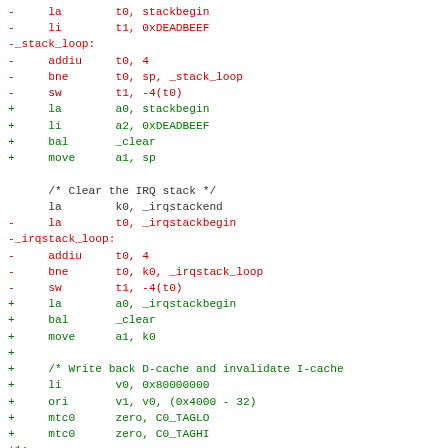Code diff showing assembly changes for stack clearing and IRQ stack loop refactoring, plus additions for D-cache write back and I-cache invalidation.